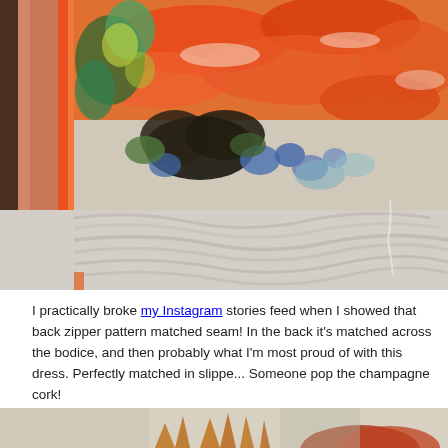[Figure (photo): Close-up photo of a person wearing a floral patterned dress. The dress features vibrant orange/red floral motifs on the upper bodice transitioning to green and blue botanical prints, then to a light gray/white wavy textured lower section. A vertical orange border seam is visible on the left side. The person's bare arm/skin is visible on the far left.]
I practically broke my Instagram stories feed when I showed that back zipper pattern matched seam! In the back it's matched across the bodice, and then probably what I'm most proud of with this dress. Perfectly matched in slippe... Someone pop the champagne cork!
[Figure (photo): Partial photo showing the top of a person's head with red/auburn hair, and what appears to be a decorative sun/starburst shaped wooden or metal wall decoration in the background. The setting appears to be indoors near a white wall.]